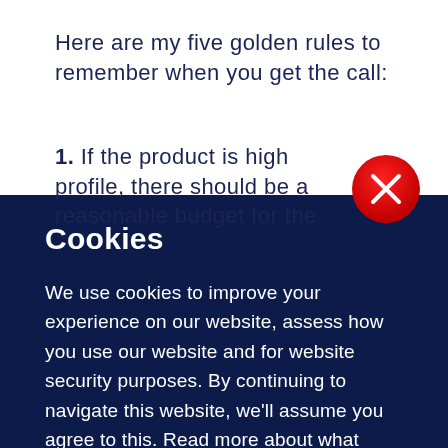Here are my five golden rules to remember when you get the call:
1. If the product is high profile, there should be a reasonable budget for the
[Figure (other): Red circular close button with white X icon, overlapping the top-right area of a dark navy cookie consent overlay]
Cookies
We use cookies to improve your experience on our website, assess how you use our website and for website security purposes. By continuing to navigate this website, we'll assume you agree to this. Read more about what cookies do and how to adjust your settings here.